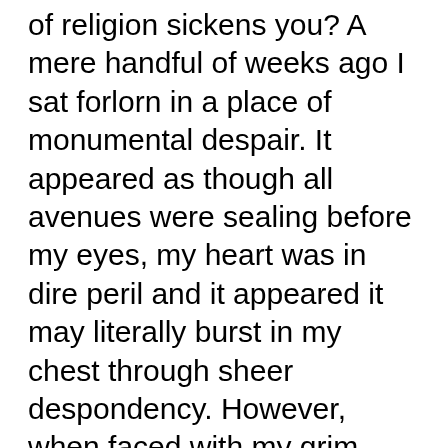of religion sickens you? A mere handful of weeks ago I sat forlorn in a place of monumental despair. It appeared as though all avenues were sealing before my eyes, my heart was in dire peril and it appeared it may literally burst in my chest through sheer despondency. However, when faced with my grim fate, something reeled me back in. This isn't how it's meant to play out; like the melancholic cyclops from Krull, my destiny has supposedly been scribed in stone way before my actual existence. I am not supposed to wither away like a hamster with wet-tail; when I expire it should be with a full heart and melancholy replaced with contentment. I have a duty and guess